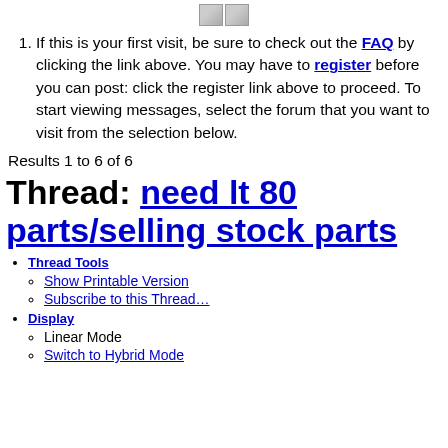[Figure (illustration): Two small broken-image icon placeholders side by side, centered at top of page]
If this is your first visit, be sure to check out the FAQ by clicking the link above. You may have to register before you can post: click the register link above to proceed. To start viewing messages, select the forum that you want to visit from the selection below.
Results 1 to 6 of 6
Thread: need lt 80 parts/selling stock parts
Thread Tools
Show Printable Version
Subscribe to this Thread…
Display
Linear Mode
Switch to Hybrid Mode